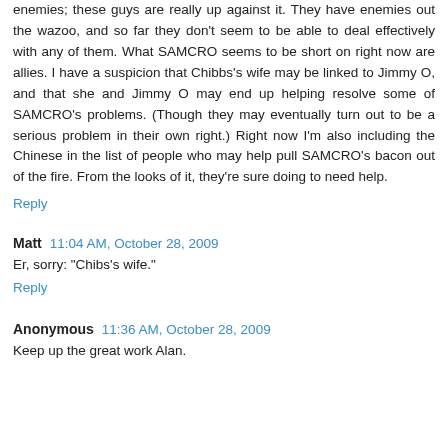enemies; these guys are really up against it. They have enemies out the wazoo, and so far they don't seem to be able to deal effectively with any of them. What SAMCRO seems to be short on right now are allies. I have a suspicion that Chibbs's wife may be linked to Jimmy O, and that she and Jimmy O may end up helping resolve some of SAMCRO's problems. (Though they may eventually turn out to be a serious problem in their own right.) Right now I'm also including the Chinese in the list of people who may help pull SAMCRO's bacon out of the fire. From the looks of it, they're sure doing to need help.
Reply
Matt  11:04 AM, October 28, 2009
Er, sorry: "Chibs's wife."
Reply
Anonymous  11:36 AM, October 28, 2009
Keep up the great work Alan.